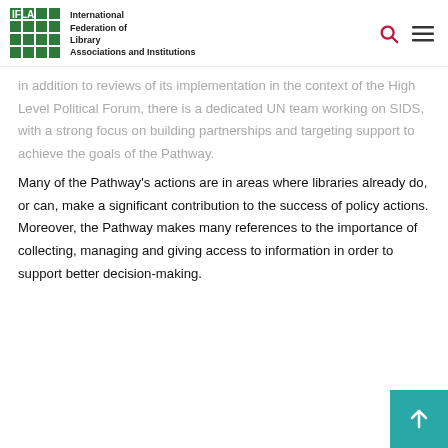IFLA - International Federation of Library Associations and Institutions
in addition to reviews of its implementation in the context of the High Level Political Forum, there is a dedicated UN team working on SIDS, with a strong focus on building partnerships and targeting support to achieve the goals of the Pathway.
Many of the Pathway's actions are in areas where libraries already do, or can, make a significant contribution to the success of policy actions. Moreover, the Pathway makes many references to the importance of collecting, managing and giving access to information in order to support better decision-making.